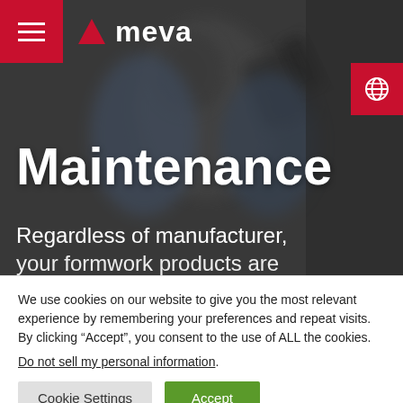[Figure (photo): Hero background showing a person in work clothing carrying equipment, dark and blurry, serving as the background for the Maintenance page header of MEVA website.]
Maintenance
Regardless of manufacturer, your formwork products are
We use cookies on our website to give you the most relevant experience by remembering your preferences and repeat visits. By clicking “Accept”, you consent to the use of ALL the cookies.
Do not sell my personal information.